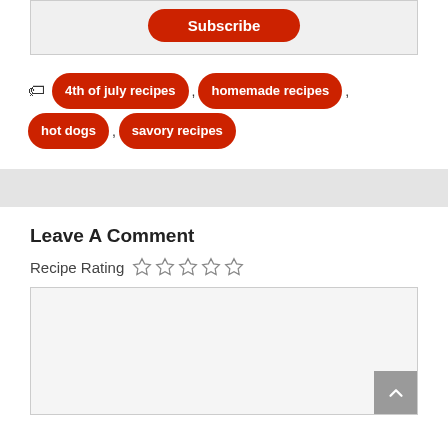Subscribe
4th of july recipes, homemade recipes, hot dogs, savory recipes
Leave A Comment
Recipe Rating ☆☆☆☆☆